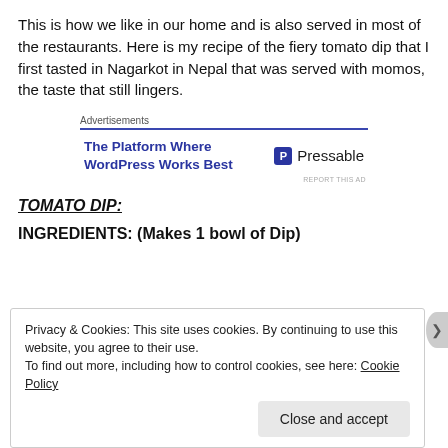This is how we like in our home and is also served in most of the restaurants. Here is my recipe of the fiery tomato dip that I first tasted in Nagarkot in Nepal that was served with momos, the taste that still lingers.
[Figure (other): Advertisement block for Pressable WordPress hosting with blue header line, text 'The Platform Where WordPress Works Best' and Pressable logo]
TOMATO DIP:
INGREDIENTS: (Makes 1 bowl of Dip)
Privacy & Cookies: This site uses cookies. By continuing to use this website, you agree to their use. To find out more, including how to control cookies, see here: Cookie Policy